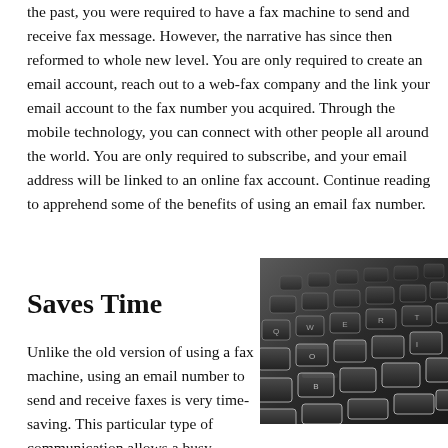the past, you were required to have a fax machine to send and receive fax message. However, the narrative has since then reformed to whole new level. You are only required to create an email account, reach out to a web-fax company and the link your email account to the fax number you acquired. Through the mobile technology, you can connect with other people all around the world. You are only required to subscribe, and your email address will be linked to an online fax account. Continue reading to apprehend some of the benefits of using an email fax number.
Saves Time
[Figure (photo): Close-up photo of a dark computer keyboard with backlit keys, shown at an angle]
Unlike the old version of using a fax machine, using an email number to send and receive faxes is very time-saving. This particular type of communication allows a busy